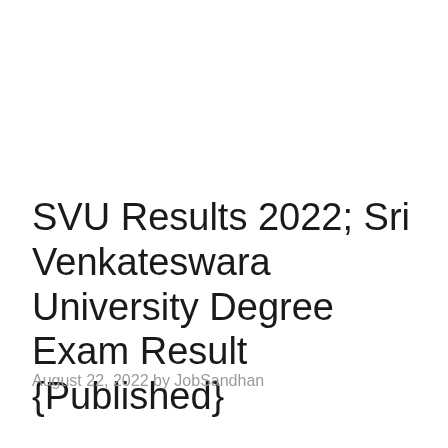SVU Results 2022; Sri Venkateswara University Degree Exam Result {Published}
August 22, 2022 by JobSandhan